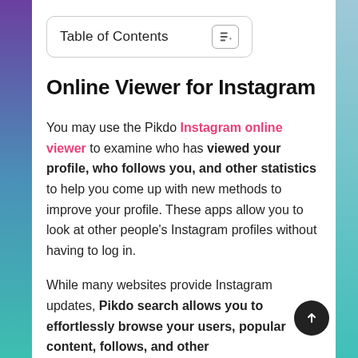Table of Contents
Online Viewer for Instagram
You may use the Pikdo Instagram online viewer to examine who has viewed your profile, who follows you, and other statistics to help you come up with new methods to improve your profile. These apps allow you to look at other people's Instagram profiles without having to log in.
While many websites provide Instagram updates, Pikdo search allows you to effortlessly browse your users, popular content, follows, and other